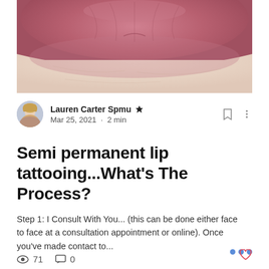[Figure (photo): Close-up photo of lips with pinkish-mauve tones after lip tattooing treatment, showing textured skin detail]
Lauren Carter Spmu 👑
Mar 25, 2021 · 2 min
Semi permanent lip tattooing...What's The Process?
Step 1: I Consult With You... (this can be done either face to face at a consultation appointment or online). Once you've made contact to...
71  0